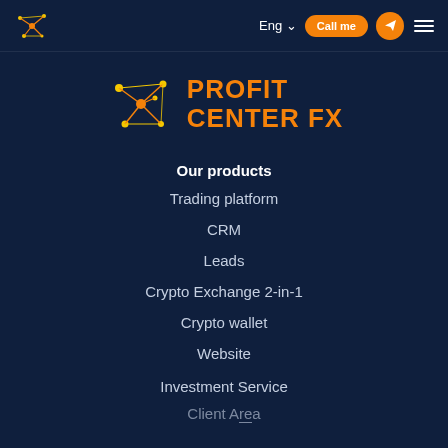Eng  Call me
[Figure (logo): Profit Center FX logo with atomic/network graphic and orange text reading PROFIT CENTER FX]
Our products
Trading platform
CRM
Leads
Crypto Exchange 2-in-1
Crypto wallet
Website
Investment Service
Client Area